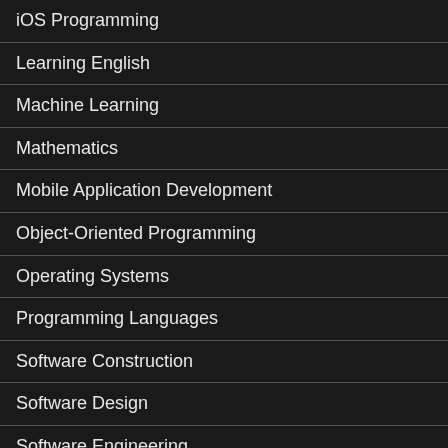iOS Programming
Learning English
Machine Learning
Mathematics
Mobile Application Development
Object-Oriented Programming
Operating Systems
Programming Languages
Software Construction
Software Design
Software Engineering
Software Engineering Curriculum
Software Engineering Research